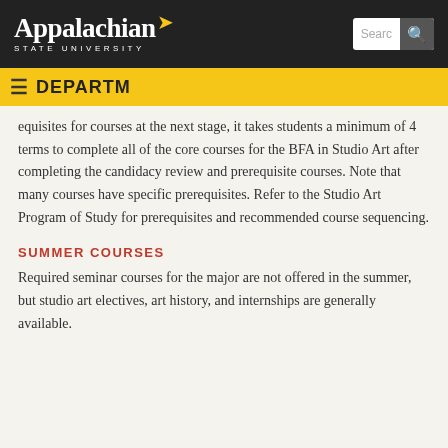Appalachian State University
equisites for courses at the next stage, it takes students a minimum of 4 terms to complete all of the core courses for the BFA in Studio Art after completing the candidacy review and prerequisite courses. Note that many courses have specific prerequisites. Refer to the Studio Art Program of Study for prerequisites and recommended course sequencing.
SUMMER COURSES
Required seminar courses for the major are not offered in the summer, but studio art electives, art history, and internships are generally available.